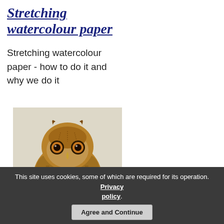Stretching watercolour paper
Stretching watercolour paper - how to do it and why we do it
[Figure (photo): A tawny owl illustrated in watercolour, shown from the front/slightly side, with brown and orange feathers, against a light background.]
This site uses cookies, some of which are required for its operation. Privacy policy. Agree and Continue